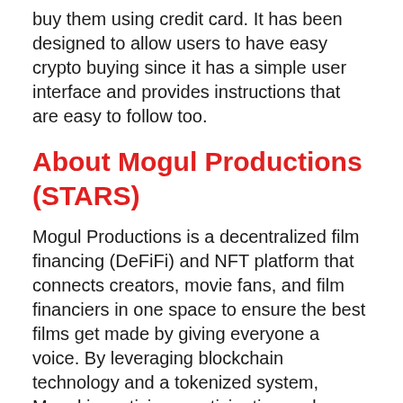buy them using credit card. It has been designed to allow users to have easy crypto buying since it has a simple user interface and provides instructions that are easy to follow too.
About Mogul Productions (STARS)
Mogul Productions is a decentralized film financing (DeFiFi) and NFT platform that connects creators, movie fans, and film financiers in one space to ensure the best films get made by giving everyone a voice. By leveraging blockchain technology and a tokenized system, Mogul incentivizes participation and rewards engagement. Using the Mogul in-app payment and utility...